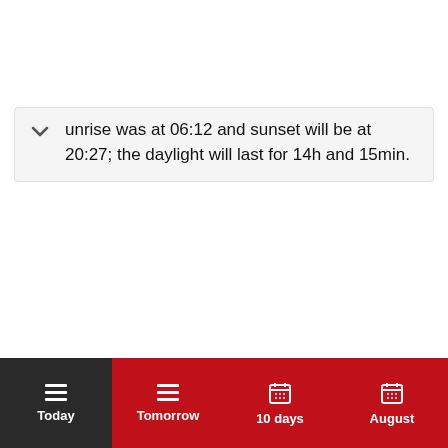sunrise was at 06:12 and sunset will be at 20:27; the daylight will last for 14h and 15min.
[Figure (screenshot): Bottom navigation bar with four tabs: Today (active, dark background), Tomorrow, 10 days, August — each with a hamburger or calendar icon above the label, on a dark red background.]